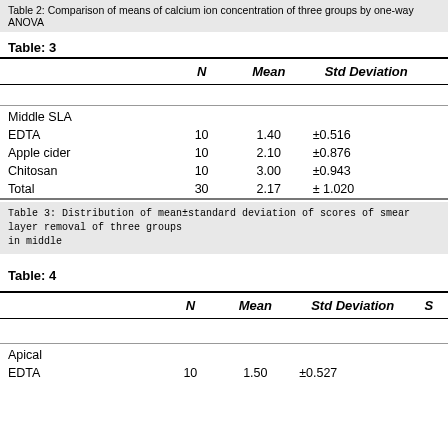Table 2: Comparison of means of calcium ion concentration of three groups by one-way ANOVA
Table: 3
|  | N | Mean | Std Deviation |
| --- | --- | --- | --- |
| Middle SLA |  |  |  |
| EDTA | 10 | 1.40 | ±0.516 |
| Apple cider | 10 | 2.10 | ±0.876 |
| Chitosan | 10 | 3.00 | ±0.943 |
| Total | 30 | 2.17 | ± 1.020 |
Table 3: Distribution of mean±standard deviation of scores of smear layer removal of three groups in middle
Table: 4
|  | N | Mean | Std Deviation | S |
| --- | --- | --- | --- | --- |
| Apical |  |  |  |  |
| EDTA | 10 | 1.50 | ±0.527 |  |